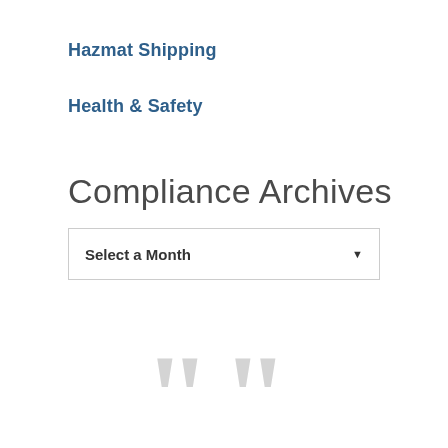Hazmat Shipping
Health & Safety
Compliance Archives
Select a Month
[Figure (illustration): Large decorative quotation mark graphic in light gray]